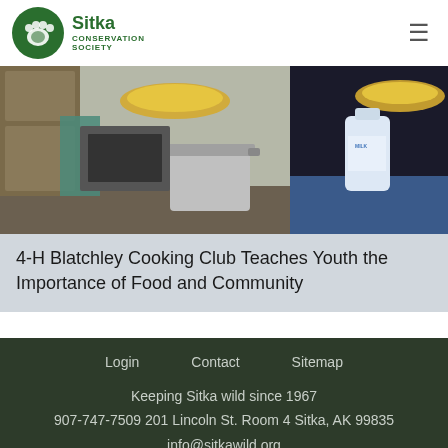Sitka Conservation Society
[Figure (photo): Person in a kitchen holding a yellow pie dish and a milk jug, with a large stainless steel pot on the counter and a teal cloth nearby.]
4-H Blatchley Cooking Club Teaches Youth the Importance of Food and Community
Login   Contact   Sitemap
Keeping Sitka wild since 1967
907-747-7509 201 Lincoln St. Room 4 Sitka, AK 99835
info@sitkawild.org